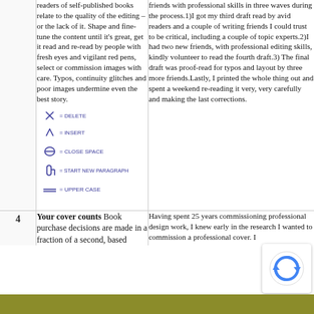readers of self-published books relate to the quality of the editing – or the lack of it. Shape and fine-tune the content until it's great, get it read and re-read by people with fresh eyes and vigilant red pens, select or commission images with care. Typos, continuity glitches and poor images undermine even the best story.
[Figure (illustration): Handwritten proofreading symbols with labels: slash = DELETE, caret = INSERT, circle = CLOSE SPACE, paragraph symbol = START NEW PARAGRAPH, double underline = UPPER CASE]
friends with professional skills in three waves during the process.1)I got my third draft read by avid readers and a couple of writing friends I could trust to be critical, including a couple of topic experts.2)I had two new friends, with professional editing skills, kindly volunteer to read the fourth draft.3) The final draft was proof-read for typos and layout by three more friends.Lastly, I printed the whole thing out and spent a weekend re-reading it very, very carefully and making the last corrections.
4
Your cover counts Book purchase decisions are made in a fraction of a second, based...
Having spent 25 years commissioning professional design work, I knew early in the research I wanted to commission a professional cover. I...